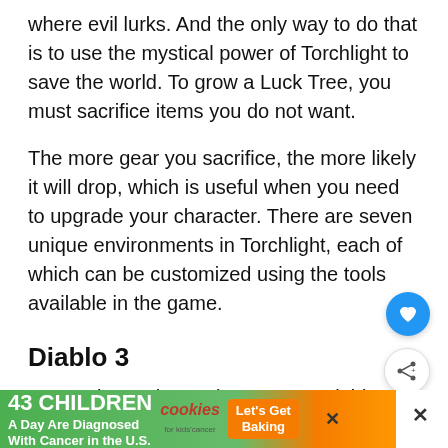where evil lurks. And the only way to do that is to use the mystical power of Torchlight to save the world. To grow a Luck Tree, you must sacrifice items you do not want.
The more gear you sacrifice, the more likely it will drop, which is useful when you need to upgrade your character. There are seven unique environments in Torchlight, each of which can be customized using the tools available in the game.
Diablo 3
Some players have given up on “Diablo III.” Some ha[ve] ... [not want] to ...
[Figure (screenshot): Advertisement banner: '43 CHILDREN A Day Are Diagnosed With Cancer in the U.S.' with cookies for kids' cancer logo and 'Let's Get Baking' call to action]